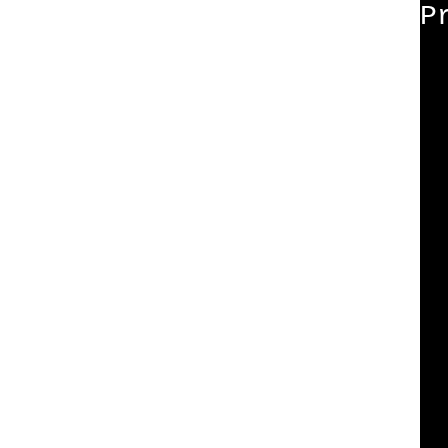[Figure (screenshot): Terminal output showing preprocessing and parsing log lines for various C source files including poptDB.c, rpmdb.c, rpmdb.h, tagname.c, tagtbl.c, and argv.c, each prefixed with file paths /tmp/B.b67e2...]